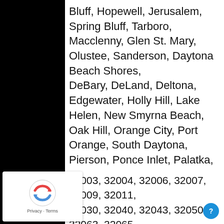Bluff, Hopewell, Jerusalem, Spring Bluff, Tarboro, Macclenny, Glen St. Mary, Olustee, Sanderson, Daytona Beach Shores, DeBary, DeLand, Deltona, Edgewater, Holly Hill, Lake Helen, New Smyrna Beach, Oak Hill, Orange City, Port Orange, South Daytona, Pierson, Ponce Inlet, Palatka, Interlachen, Pomona Park, Welaka, Bostwick, East Palatka, Grandin, Georgetown, Florahome, Hollister, Interlachen, Lake Como, Melrose, Putnam Hall, San Mateo, Satsuma
2003, 32004, 32006, 32007, 32009, 32011, 2030, 32040, 32043, 32050, 32063, 32065,